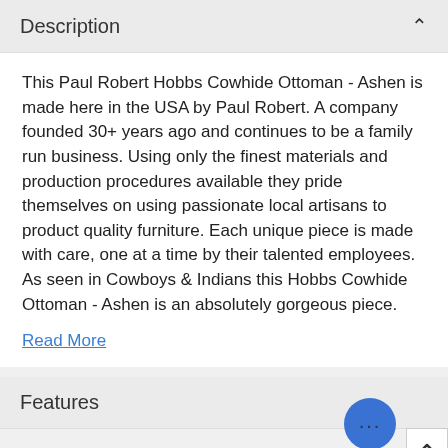Description
This Paul Robert Hobbs Cowhide Ottoman - Ashen is made here in the USA by Paul Robert. A company founded 30+ years ago and continues to be a family run business. Using only the finest materials and production procedures available they pride themselves on using passionate local artisans to product quality furniture. Each unique piece is made with care, one at a time by their talented employees. As seen in Cowboys & Indians this Hobbs Cowhide Ottoman - Ashen is an absolutely gorgeous piece.
Read More
Features
| Ship Time: |  |
| --- | --- |
| Ship Time: | 4-8 Weeks |